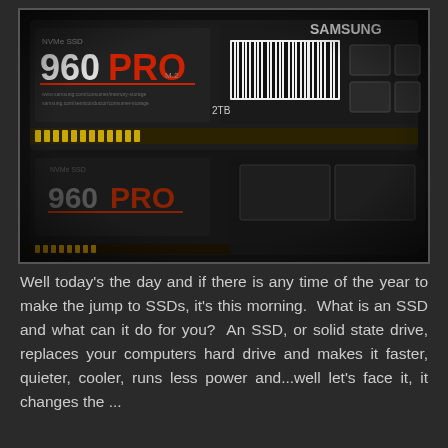[Figure (photo): Close-up photograph of two Samsung 960 PRO NVMe SSDs stacked/overlapping, showing the product labels with '960 PRO' text in white and red, Samsung branding, and M.2 form factor circuit boards with chips and connectors visible.]
Well today's the day and if there is any time of the year to make the jump to SSDs, it's this morning.  What is an SSD and what can it do for you?  An SSD, or solid state drive, replaces your computers hard drive and makes it faster, quieter, cooler, runs less power and...well let's face it, it changes the ...